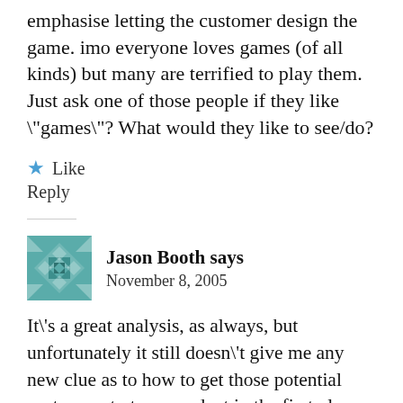emphasise letting the customer design the game. imo everyone loves games (of all kinds) but many are terrified to play them. Just ask one of those people if they like \"games\"? What would they like to see/do?
★ Like
Reply
Jason Booth says
November 8, 2005
It\'s a great analysis, as always, but unfortunately it still doesn\'t give me any new clue as to how to get those potential customers to try a product in the first place. To me, that is the bigger concern.For instance, we just released Guitar Hero. It\'s not exactly your typical game; but it\'s getting amazing reviews from gamers and non-gamers alike. I take it to a group of my friends who\'ve never played games and they go nuts over it